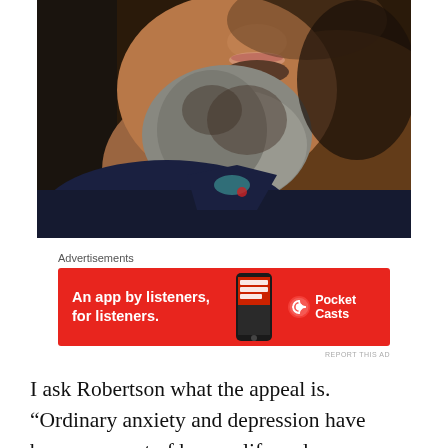[Figure (photo): Close-up photo of a middle-aged man with a grey and brown beard, wearing a dark navy jacket, looking upward. Background is blurred with warm tones.]
Advertisements
[Figure (other): Advertisement banner for Pocket Casts app. Red background with white bold text: 'An app by listeners, for listeners.' and Pocket Casts logo on the right with a phone image in the center.]
REPORT THIS AD
I ask Robertson what the appeal is. “Ordinary anxiety and depression have become a part of human life and